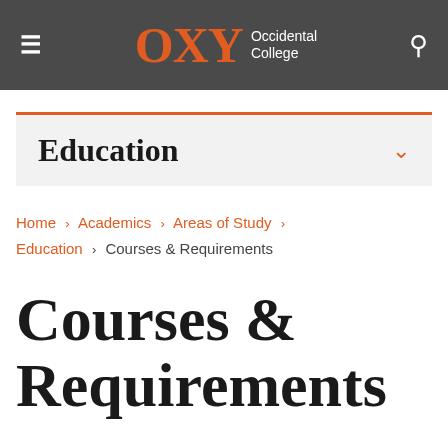OXY Occidental College
Education
Home › Academics › Areas of Study › Education › Courses & Requirements
Courses & Requirements